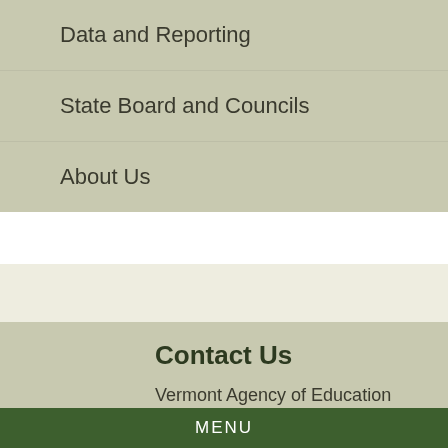Data and Reporting
State Board and Councils
About Us
Contact Us
Vermont Agency of Education
Secretary Daniel M. French
1 National Life Drive, Davis 5
Montpelier, VT 05620-2501
MENU
Web and Document Accessibility Policy